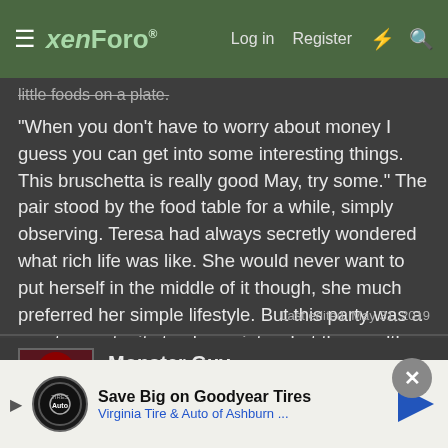xenForo | Log in | Register
little foods on a plate.
“When you don’t have to worry about money I guess you can get into some interesting things. This bruschetta is really good May, try some.” The pair stood by the food table for a while, simply observing. Teresa had always secretly wondered what rich life was like. She would never want to put herself in the middle of it though, she much preferred her simple lifestyle. But this party was a great opportunity to glance into what the wealthy lifestyle was like. What did these kinds of people get up to?
Last edited: May 31, 2019
Monster Guy
Fairy type Trainer
Mar 24, 2019
#11
Save Big on Goodyear Tires
Virginia Tire & Auto of Ashburn ...